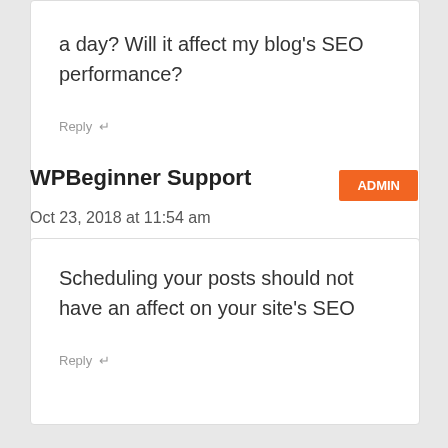a day? Will it affect my blog’s SEO performance?
Reply
WPBeginner Support
ADMIN
Oct 23, 2018 at 11:54 am
Scheduling your posts should not have an affect on your site’s SEO
Reply